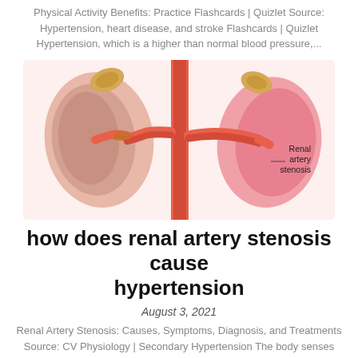Physical Activity Benefits: Practice Flashcards | Quizlet Source: Hypertension, heart disease, and stroke Flashcards | Quizlet Hypertension, which is a higher than normal blood pressure,...
[Figure (illustration): Medical illustration showing two kidneys with renal artery stenosis labeled, depicting a narrowing in the renal artery on the left kidney side, with the aorta in the center connecting both kidneys via renal arteries.]
how does renal artery stenosis cause hypertension
August 3, 2021
Renal Artery Stenosis: Causes, Symptoms, Diagnosis, and Treatments Source: CV Physiology | Secondary Hypertension The body senses